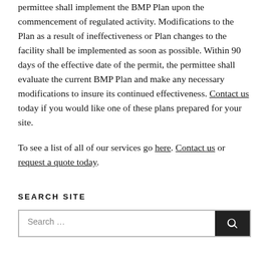permittee shall implement the BMP Plan upon the commencement of regulated activity. Modifications to the Plan as a result of ineffectiveness or Plan changes to the facility shall be implemented as soon as possible. Within 90 days of the effective date of the permit, the permittee shall evaluate the current BMP Plan and make any necessary modifications to insure its continued effectiveness. Contact us today if you would like one of these plans prepared for your site.
To see a list of all of our services go here. Contact us or request a quote today.
SEARCH SITE